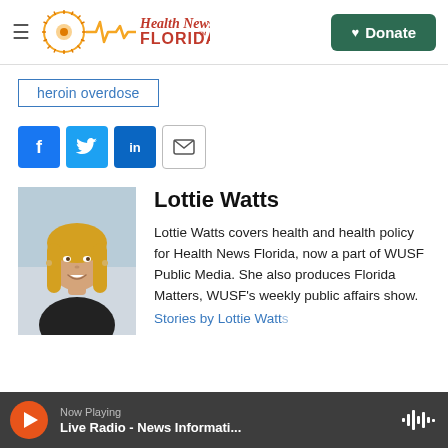Health News Florida — Donate
heroin overdose
[Figure (other): Social sharing buttons: Facebook, Twitter, LinkedIn, Email]
[Figure (photo): Portrait photo of Lottie Watts, a woman with blonde hair wearing a dark top]
Lottie Watts
Lottie Watts covers health and health policy for Health News Florida, now a part of WUSF Public Media. She also produces Florida Matters, WUSF's weekly public affairs show.
Now Playing — Live Radio - News Informati...